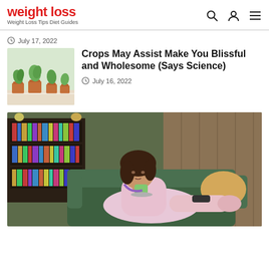weight loss — Weight Loss Tips Diet Guides
July 17, 2022
[Figure (photo): Small potted plants in terracotta pots on a white surface]
Crops May Assist Make You Blissful and Wholesome (Says Science)
July 16, 2022
[Figure (photo): Woman in pink robe lying on green sofa drinking from a cup, bookshelf in background]